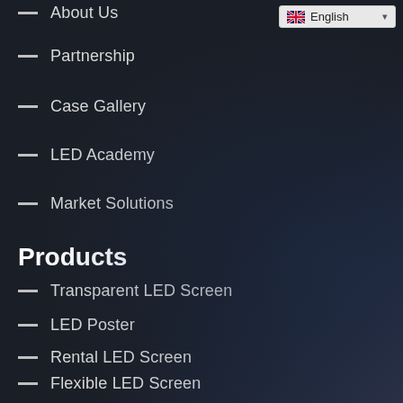[Figure (screenshot): Website navigation menu on dark background with language selector dropdown showing 'English' in top right corner]
About Us
Partnership
Case Gallery
LED Academy
Market Solutions
Products
Transparent LED Screen
LED Poster
Rental LED Screen
Flexible LED Screen
Outdoor LED Screen
Contact